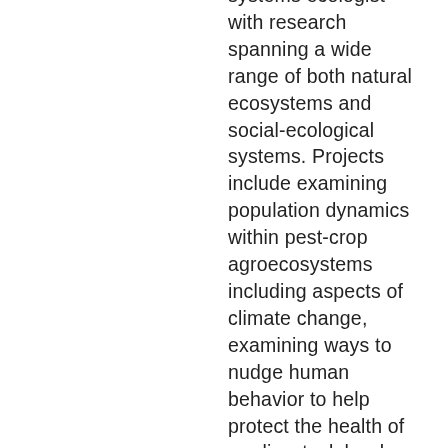systems ecologist with research spanning a wide range of both natural ecosystems and social-ecological systems. Projects include examining population dynamics within pest-crop agroecosystems including aspects of climate change, examining ways to nudge human behavior to help protect the health of our livestock herds, and looking at factors motivating behavior that affects water quality in the Lake Champlain watershed. In the SEGS lab, he uses experimental gaming as a novel technique for collecting data to examine decision making in social-ecological systems. An important goal of this work is the creation of applicable and predictive models to inform best management